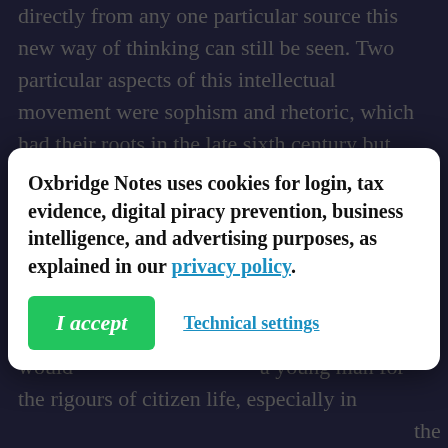directly from any one particular source this new way of thinking can still be seen. Two particular aspects of this intellectual movement were sophism and rhetoric, which had their roots in the late sixth century but really flourished throughout the fifth; it is these ideas w... two w... d the H... group of p... ey were the first men who demanded money for services of this sort but they claimed that such skills would... a young man for the rigours of citizen life, especially in ... the democratic city of Athens whose politics revolved around public speaking. The word sophist often has a negative connotation, mainly because in Plato's work they are treated quite roughly as well as being the antagonists of Socrates which often meant their ideas
Oxbridge Notes uses cookies for login, tax evidence, digital piracy prevention, business intelligence, and advertising purposes, as explained in our privacy policy.
I accept
Technical settings